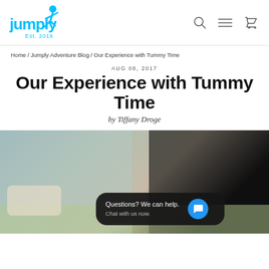Jumply Est. 2016 [logo with navigation icons: search, menu, cart]
Home / Jumply Adventure Blog / Our Experience with Tummy Time
AUG 08, 2017
Our Experience with Tummy Time
by Tiffany Droge
[Figure (photo): Photo of a baby during tummy time on a mat, with a chat widget overlay showing 'Questions? We can help. Chat with us now.']